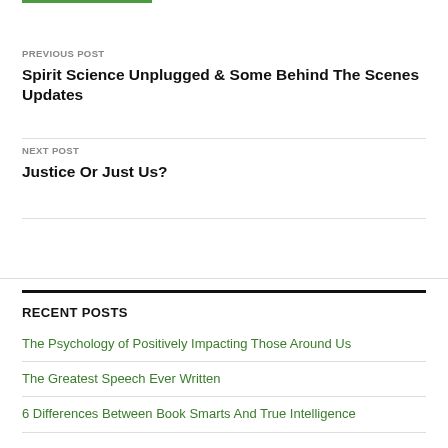PREVIOUS POST
Spirit Science Unplugged & Some Behind The Scenes Updates
NEXT POST
Justice Or Just Us?
RECENT POSTS
The Psychology of Positively Impacting Those Around Us
The Greatest Speech Ever Written
6 Differences Between Book Smarts And True Intelligence